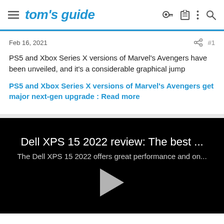tom's guide
Feb 16, 2021   #1
PS5 and Xbox Series X versions of Marvel's Avengers have been unveiled, and it's a considerable graphical jump
PS5 and Xbox Series X versions of Marvel's Avengers get major next-gen upgrade : Read more
[Figure (screenshot): Video thumbnail for Dell XPS 15 2022 review with play button on black background]
Dell XPS 15 2022 review: The best ...
The Dell XPS 15 2022 offers great performance and on...